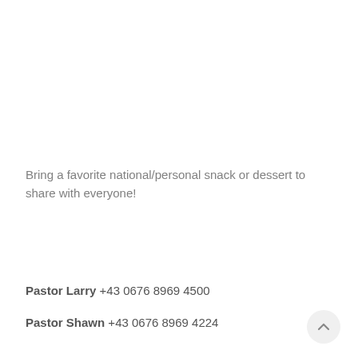Bring a favorite national/personal snack or dessert to share with everyone!
Pastor Larry +43 0676 8969 4500
Pastor Shawn +43 0676 8969 4224